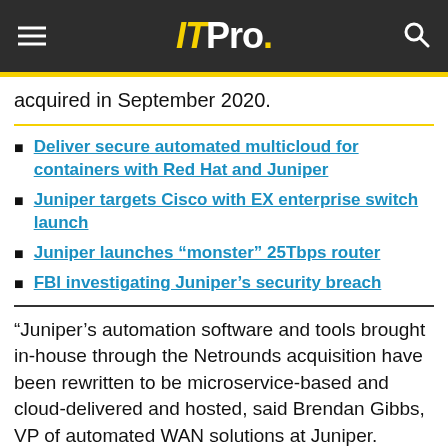ITPro.
acquired in September 2020.
Deliver secure automated multicloud for containers with Red Hat and Juniper
Juniper targets Cisco with EX enterprise switch launch
Juniper launches “monster” 25Tbps router
FBI investigating Juniper’s security breach
“Juniper’s automation software and tools brought in-house through the Netrounds acquisition have been rewritten to be microservice-based and cloud-delivered and hosted, said Brendan Gibbs, VP of automated WAN solutions at Juniper.